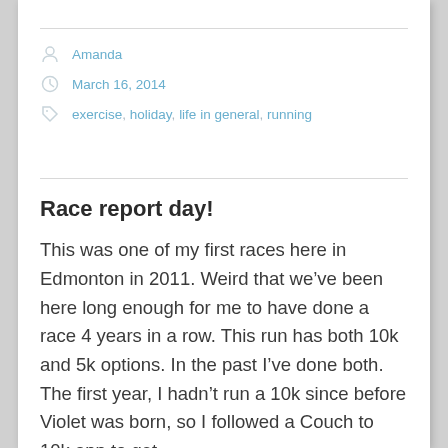Amanda
March 16, 2014
exercise, holiday, life in general, running
Race report day!
This was one of my first races here in Edmonton in 2011. Weird that we’ve been here long enough for me to have done a race 4 years in a row. This run has both 10k and 5k options. In the past I’ve done both. The first year, I hadn’t run a 10k since before Violet was born, so I followed a Couch to 10k app to get